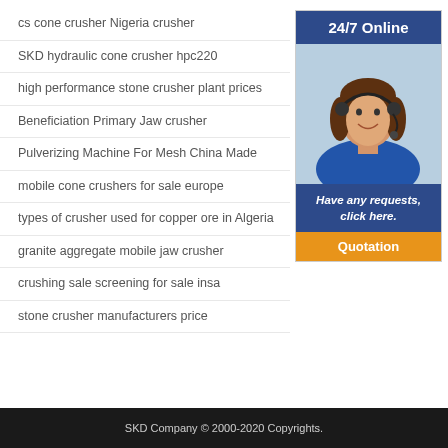cs cone crusher Nigeria crusher
SKD hydraulic cone crusher hpc220
high performance stone crusher plant prices
Beneficiation Primary Jaw crusher
Pulverizing Machine For Mesh China Made
mobile cone crushers for sale europe
types of crusher used for copper ore in Algeria
granite aggregate mobile jaw crusher
crushing sale screening for sale insa
stone crusher manufacturers price
[Figure (infographic): 24/7 Online customer service widget with a photo of a woman wearing a headset, blue background header '24/7 Online', blue footer 'Have any requests, click here.' and orange 'Quotation' button]
SKD Company © 2000-2020 Copyrights.